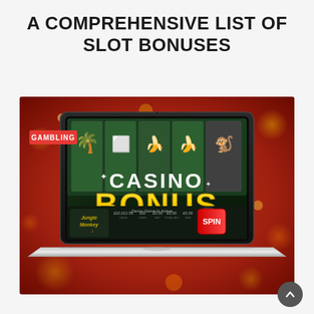A COMPREHENSIVE LIST OF SLOT BONUSES
[Figure (illustration): A laptop computer displaying a casino slot machine game with 'CASINO BONUS' text overlay in white and gold, showing a jungle monkey themed slot game. Red 'GAMBLING' badge in top-left corner. Background is a red/orange bokeh fireworks pattern.]